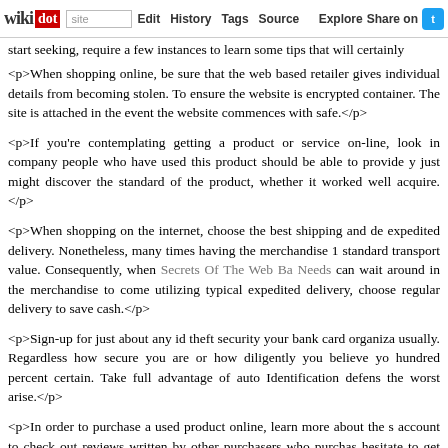wikidot | site | Edit | History | Tags | Source | Explore | Share on [Twitter]
start seeking, require a few instances to learn some tips that will certainly
<p>When shopping online, be sure that the web based retailer gives individual details from becoming stolen. To ensure the website is encrypted container. The site is attached in the event the website commences with safe.</p>
<p>If you're contemplating getting a product or service on-line, look in company people who have used this product should be able to provide y just might discover the standard of the product, whether it worked well acquire.</p>
<p>When shopping on the internet, choose the best shipping and de expedited delivery. Nonetheless, many times having the merchandise 1 standard transport value. Consequently, when Secrets Of The Web Ba Needs can wait around in the merchandise to come utilizing typical expedited delivery, choose regular delivery to save cash.</p>
<p>Sign-up for just about any id theft security your bank card organiza usually. Regardless how secure you are or how diligently you believe yo hundred percent certain. Take full advantage of auto Identification defens the worst arise.</p>
<p>In order to purchase a used product online, learn more about the s account to check out reviews written by other purchasers who purchas hesitate to get hold of the owner to inquire about a few pre-determined looking at.</p>
<p>Transform it into a habit to sign up for cost warnings. It goes for tra Cost notifications will let you know each time a product has fallen...